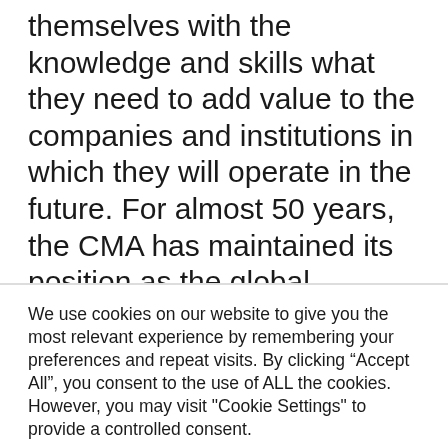themselves with the knowledge and skills what they need to add value to the companies and institutions in which they will operate in the future. For almost 50 years, the CMA has maintained its position as the global standard for management accountants and financial experts. “Partnerships with entities such as Sarh and the Jordanian Association of Management
We use cookies on our website to give you the most relevant experience by remembering your preferences and repeat visits. By clicking “Accept All”, you consent to the use of ALL the cookies. However, you may visit "Cookie Settings" to provide a controlled consent.